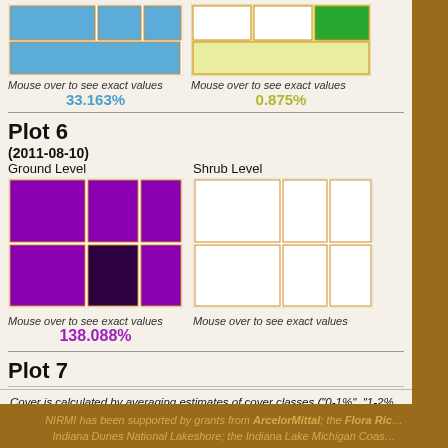[Figure (other): Treemap chart showing ground level cover with blue squares on white background]
Mouse over to see exact values
33.163%
[Figure (other): Treemap chart showing shrub level cover with green square on light yellow/white background]
Mouse over to see exact values
0.875%
Plot 6
(2011-08-10)
Ground Level
[Figure (other): Treemap chart showing ground level cover with purple squares, one dark purple square in bottom center]
Mouse over to see exact values
138.088%
Shrub Level
[Figure (other): Treemap chart showing shrub level with orange-bordered empty white squares]
Mouse over to see exact values
Plot 7
Cover is calculated by averaging estimates of cover classes ("0-1%", "1-2% etc) and extrapolation when necessary. Significant digits may be overrepresented. Cover may be greater than 100% due to overlapping plants within a single layer. "Shrub" height ranges from approximately 1.5 to 6 meters.
NIRMI has been supported by grants from ArcelorMittal, the Flora Richardson Indiana Dunes National Lakeshore, the Indiana Lake Michigan Coas